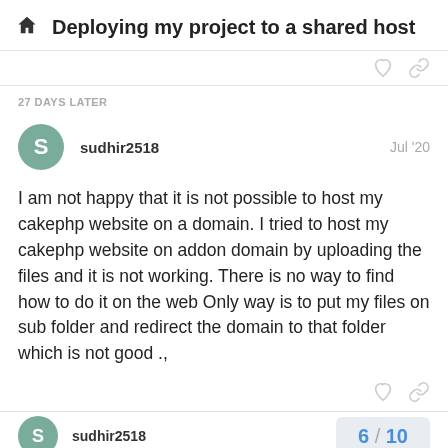Deploying my project to a shared host
27 DAYS LATER
sudhir2518   Jul '20
I am not happy that it is not possible to host my cakephp website on a domain. I tried to host my cakephp website on addon domain by uploading the files and it is not working. There is no way to find how to do it on the web Only way is to put my files on sub folder and redirect the domain to that folder which is not good .,
sudhir2518
6 / 10